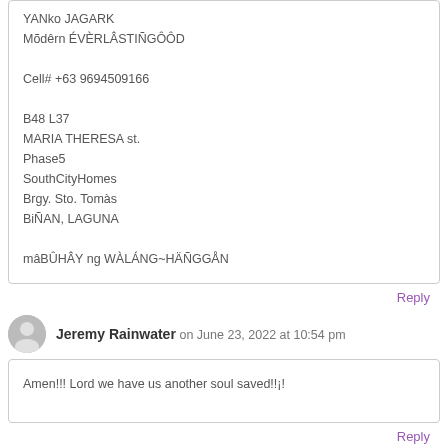YANko JAGARK
Mõdêrn ÉVÈRLÂSTIÑGÔÔD

Cell# +63 9694509166

B48 L37
MARIA THERESA st.
Phase5
SouthCityHomes
Brgy. Sto. Tomàs
BiÑAN, LAGUNA

mâBÛHÂY ng WÀLÁNG~HÄÑGGÅN
Reply
Jeremy Rainwater on June 23, 2022 at 10:54 pm
Amen!!! Lord we have us another soul saved!!¡!
Reply